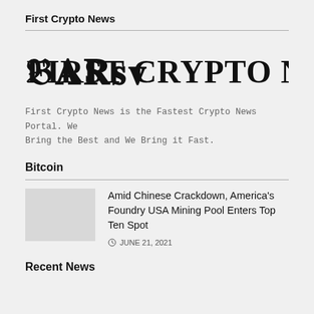First Crypto News
[Figure (logo): First Crypto News logo in blackletter/Old English style font]
First Crypto News is the Fastest Crypto News Portal. We Bring the Best and We Bring it Fast.
Bitcoin
Amid Chinese Crackdown, America's Foundry USA Mining Pool Enters Top Ten Spot
JUNE 21, 2021
Recent News